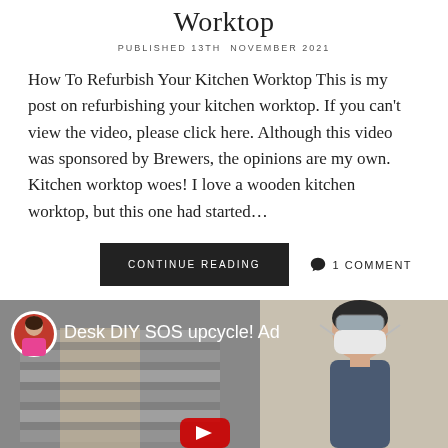Worktop
PUBLISHED 13TH NOVEMBER 2021
How To Refurbish Your Kitchen Worktop This is my post on refurbishing your kitchen worktop. If you can't view the video, please click here. Although this video was sponsored by Brewers, the opinions are my own. Kitchen worktop woes! I love a wooden kitchen worktop, but this one had started…
CONTINUE READING
1 COMMENT
[Figure (screenshot): Video thumbnail showing a woman in a face mask on the right and a staircase on the left, with text 'Desk DIY SOS upcycle! Ad' and a circular avatar of a woman in pink top.]